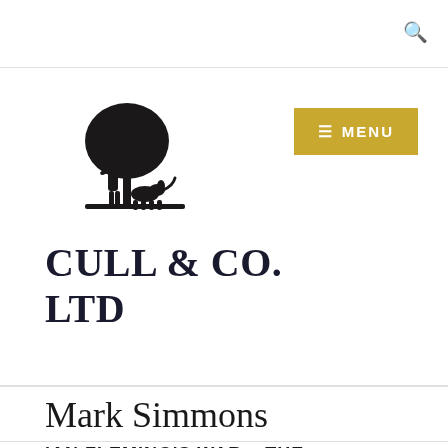[Figure (logo): Cull & Co. Ltd logo: silhouette of a person standing beside a dog under a large tree]
CULL & CO. LTD
Mark Simmons
IAN FLEMING'S WAR – THE